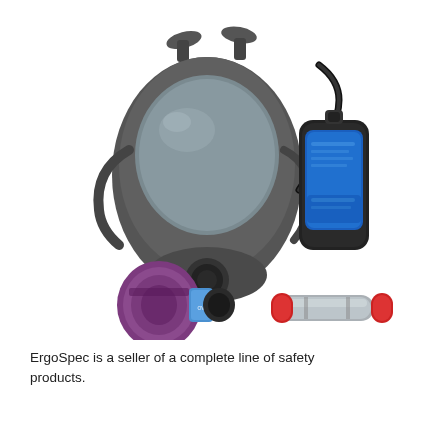[Figure (photo): A full-face respirator mask with purple and blue filter cartridges attached, connected by a black cable to a rectangular blue battery/pump unit, and a small silver tube with red caps (sampling tube) in the foreground. All items are on a white background.]
ErgoSpec is a seller of a complete line of safety products.